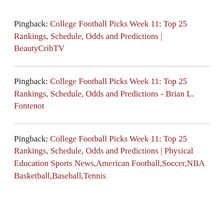Pingback: College Football Picks Week 11: Top 25 Rankings, Schedule, Odds and Predictions | BeautyCribTV
Pingback: College Football Picks Week 11: Top 25 Rankings, Schedule, Odds and Predictions - Brian L. Fontenot
Pingback: College Football Picks Week 11: Top 25 Rankings, Schedule, Odds and Predictions | Physical Education Sports News,American Football,Soccer,NBA Basketball,Baseball,Tennis